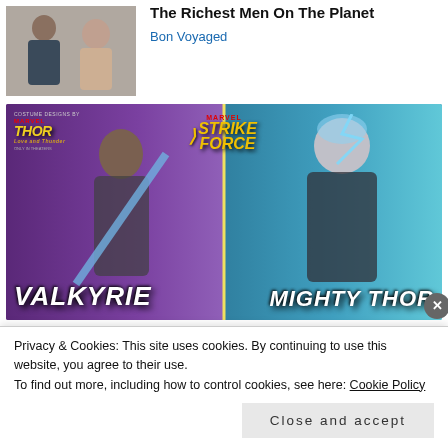[Figure (photo): Photo of two people, a man in a suit and a woman, seated together]
The Richest Men On The Planet
Bon Voyaged
[Figure (illustration): Marvel Strike Force promotional image featuring Valkyrie and Mighty Thor characters with Thor Love and Thunder branding]
Privacy & Cookies: This site uses cookies. By continuing to use this website, you agree to their use.
To find out more, including how to control cookies, see here: Cookie Policy
Close and accept